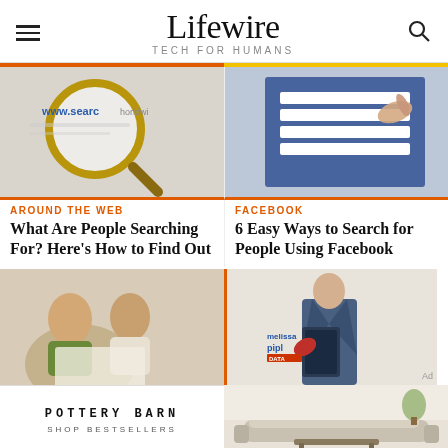Lifewire — TECH FOR HUMANS
[Figure (photo): Magnifying glass over a URL/search bar with 'www.search' text visible]
AROUND THE WEB
What Are People Searching For? Here's How to Find Out
[Figure (photo): Person touching a tablet showing a Facebook search interface]
FACEBOOK
6 Easy Ways to Search for People Using Facebook
[Figure (photo): Couple sitting together looking at documents on a laptop]
[Figure (illustration): Illustrated businessman in suit holding a tablet with Melissa and Pipl logos]
Ad
[Figure (logo): Pottery Barn — SHOP BESTSELLERS advertisement with sofa image]